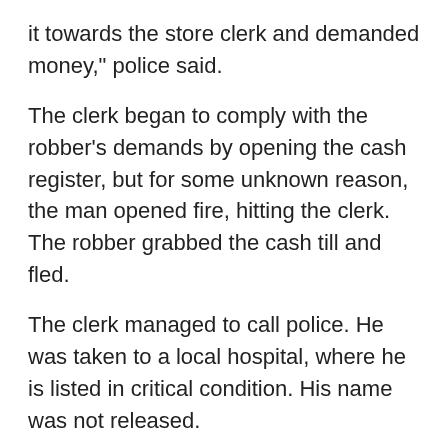it towards the store clerk and demanded money," police said.
The clerk began to comply with the robber's demands by opening the cash register, but for some unknown reason, the man opened fire, hitting the clerk. The robber grabbed the cash till and fled.
The clerk managed to call police. He was taken to a local hospital, where he is listed in critical condition. His name was not released.
Investigators are reviewing video footage in hopes of finding the assailant, police said.
"Our thoughts and prayers go out to the victim and his family for this senseless crime," said San Leandro police Lt. Isaac Benabou. "Our detectives are working